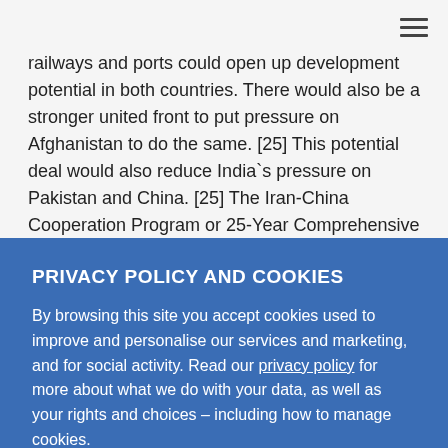railways and ports could open up development potential in both countries. There would also be a stronger united front to put pressure on Afghanistan to do the same. [25] This potential deal would also reduce India`s pressure on Pakistan and China. [25] The Iran-China Cooperation Program or 25-Year Comprehensive
PRIVACY POLICY AND COOKIES
By browsing this site you accept cookies used to improve and personalise our services and marketing, and for social activity. Read our privacy policy for more about what we do with your data, as well as your rights and choices – including how to manage cookies.
Accept & close